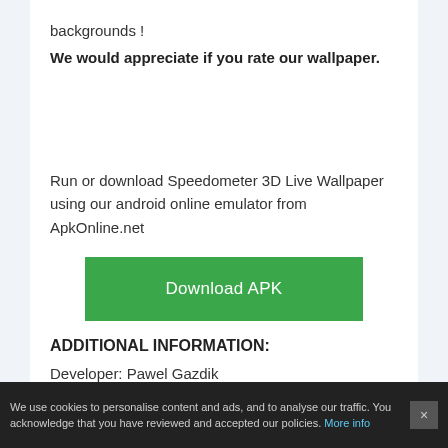backgrounds !
We would appreciate if you rate our wallpaper.
Run or download Speedometer 3D Live Wallpaper using our android online emulator from ApkOnline.net
[Figure (other): Download APK button (green)]
ADDITIONAL INFORMATION:
Developer: Pawel Gazdik
We use cookies to personalise content and ads, and to analyse our traffic. You acknowledge that you have reviewed and accepted our policies. More info